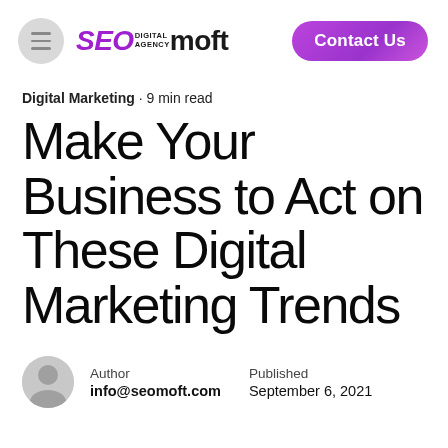SEOmoft Digital Agency — Contact Us
Digital Marketing · 9 min read
Make Your Business to Act on These Digital Marketing Trends
Author: info@seomoft.com  Published: September 6, 2021